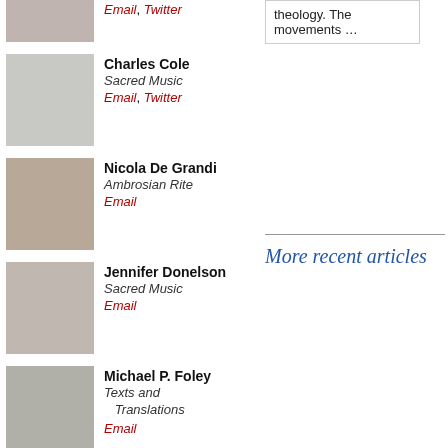[Figure (photo): Partial photo of a person, top of page]
Email, Twitter
theology. The movements …
[Figure (photo): Photo of Charles Cole]
Charles Cole
Sacred Music
Email, Twitter
[Figure (photo): Photo of Nicola De Grandi]
Nicola De Grandi
Ambrosian Rite
Email
[Figure (photo): Photo of Jennifer Donelson]
Jennifer Donelson
Sacred Music
Email
[Figure (photo): Photo of Michael P. Foley]
Michael P. Foley
Texts and Translations
Email
[Figure (photo): Photo of Matthew Hazell]
Matthew Hazell
History of the Reform
Email
More recent articles
[Figure (photo): Partial photo at bottom of page]